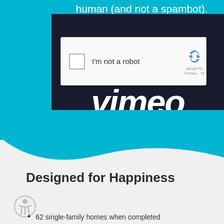human (and not a spambot).
[Figure (screenshot): Screenshot of a Vimeo video embed showing a reCAPTCHA 'I'm not a robot' checkbox overlay on a dark navy background with the Vimeo logo in white italic text]
Designed for Happiness
62 single-family homes when completed